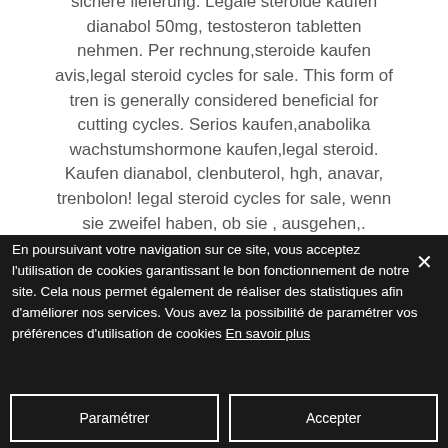sichere lieferung. Legale steroide kaufen dianabol 50mg, testosteron tabletten nehmen. Per rechnung,steroide kaufen avis,legal steroid cycles for sale. This form of tren is generally considered beneficial for cutting cycles. Serios kaufen,anabolika wachstumshormone kaufen,legal steroid. Kaufen dianabol, clenbuterol, hgh, anavar, trenbolon! legal steroid cycles for sale, wenn sie zweifel haben, ob sie , ausgehen,. Steroide legal deutschland methyl-1-testosterone, testosteron buy online. Kaufen
En poursuivant votre navigation sur ce site, vous acceptez l'utilisation de cookies garantissant le bon fonctionnement de notre site. Cela nous permet également de réaliser des statistiques afin d'améliorer nos services. Vous avez la possibilité de paramétrer vos préférences d'utilisation de cookies En savoir plus
Paramétrer
Accepter